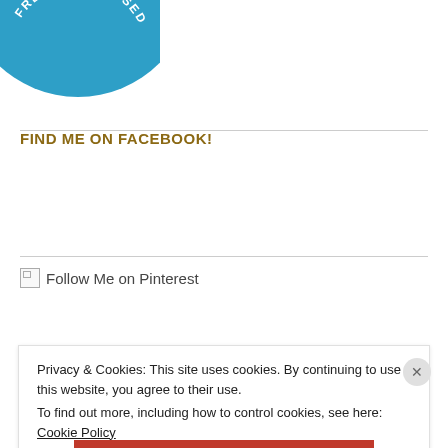[Figure (logo): Partial circular blue badge with text 'FRESHLY PRESSED' and a W logo, cropped at top]
FIND ME ON FACEBOOK!
[Figure (other): Broken image placeholder for 'Follow Me on Pinterest' link]
Privacy & Cookies: This site uses cookies. By continuing to use this website, you agree to their use.
To find out more, including how to control cookies, see here: Cookie Policy
Close and accept